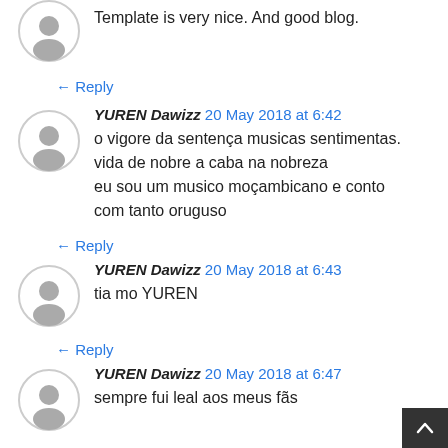Template is very nice. And good blog.
← Reply
YUREN Dawizz 20 May 2018 at 6:42
o vigore da sentença musicas sentimentas.
vida de nobre a caba na nobreza
eu sou um musico moçambicano e conto com tanto oruguso
← Reply
YUREN Dawizz 20 May 2018 at 6:43
tia mo YUREN
← Reply
YUREN Dawizz 20 May 2018 at 6:47
sempre fui leal aos meus fãs
← Reply